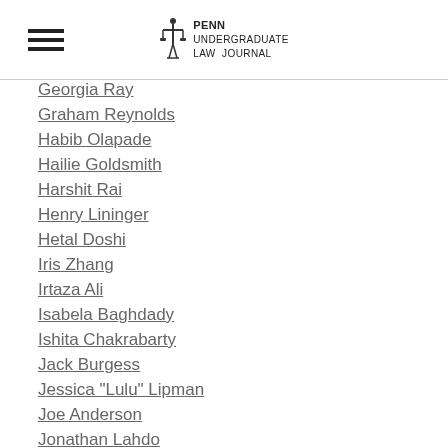Penn Undergraduate Law Journal
Georgia Ray
Graham Reynolds
Habib Olapade
Hailie Goldsmith
Harshit Rai
Henry Lininger
Hetal Doshi
Iris Zhang
Irtaza Ali
Isabela Baghdady
Ishita Chakrabarty
Jack Burgess
Jessica "Lulu" Lipman
Joe Anderson
Jonathan Lahdo
Jonathan Stahl
Joseph Squillaro
Justin Yang
Kaithen Rentals